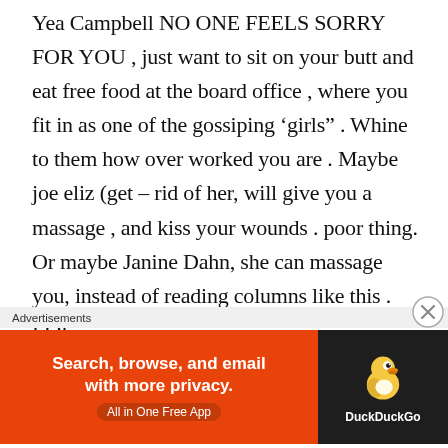Yea Campbell NO ONE FEELS SORRY FOR YOU , just want to sit on your butt and eat free food at the board office , where you fit in as one of the gossiping ‘girls” . Whine to them how over worked you are . Maybe joe eliz (get – rid of her, will give you a massage , and kiss your wounds . poor thing. Or maybe Janine Dahn, she can massage you, instead of reading columns like this . LOL
Advertisements
[Figure (screenshot): DuckDuckGo advertisement banner with orange left panel reading 'Search, browse, and email with more privacy. All in One Free App' and dark right panel with DuckDuckGo logo and brand name.]